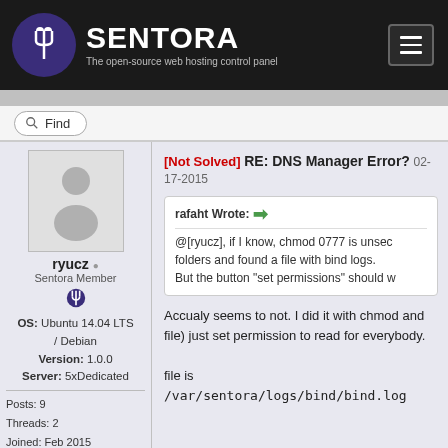SENTORA - The open-source web hosting control panel
Find
[Not Solved] RE: DNS Manager Error? 02-17-2015
[Figure (illustration): User avatar placeholder silhouette icon]
ryucz
Sentora Member
OS: Ubuntu 14.04 LTS / Debian
Version: 1.0.0
Server: 5xDedicated
Posts: 9
Threads: 2
Joined: Feb 2015
Reputation: 2
Thanks: 2
Given 2 thank(s) in 2 post(s)
rafaht Wrote: → @[ryucz], if I know, chmod 0777 is unsec folders and found a file with bind logs. But the button "set permissions" should w
Accualy seems to not. I did it with chmod and file) just set permission to read for everybody.

file is /var/sentora/logs/bind/bind.log